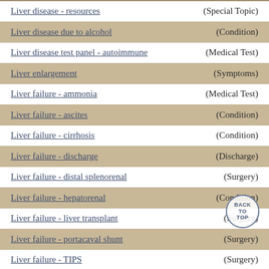Liver disease - resources (Special Topic)
Liver disease due to alcohol (Condition)
Liver disease test panel - autoimmune (Medical Test)
Liver enlargement (Symptoms)
Liver failure - ammonia (Medical Test)
Liver failure - ascites (Condition)
Liver failure - cirrhosis (Condition)
Liver failure - discharge (Discharge)
Liver failure - distal splenorenal (Surgery)
Liver failure - hepatorenal (Condition)
Liver failure - liver transplant (Surgery)
Liver failure - portacaval shunt (Surgery)
Liver failure - TIPS (Surgery)
Liver function tests (Medical Test)